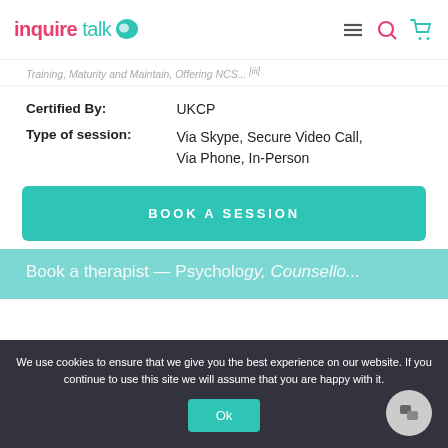inquire talk
Training, Maturity and Maintain, Offering NCS... [iii]
| Field | Value |
| --- | --- |
| Certified By: | UKCP |
| Type of session: | Via Skype, Secure Video Call, Via Phone, In-Person |
BOOK A SESSION
Book a therapist — Psychology, Counsello...
We use cookies to ensure that we give you the best experience on our website. If you continue to use this site we will assume that you are happy with it.
Ok